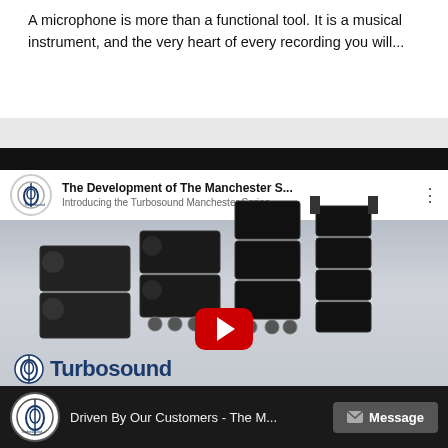A microphone is more than a functional tool. It is a musical instrument, and the very heart of every recording you will...
[Figure (screenshot): YouTube video embed showing 'The Development of The Manchester S...' with Turbosound logo and video thumbnail of speaker systems. A red play button is centered over the thumbnail. The bottom shows the Turbosound brand name in dark blue.]
[Figure (screenshot): Bottom navigation bar showing a second YouTube video titled 'Driven By Our Customers - The M...' with Turbosound circle logo and a dark Message button with envelope icon.]